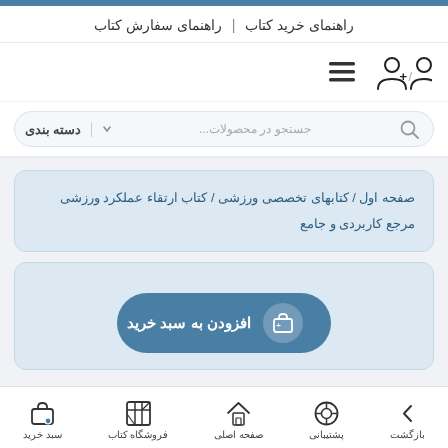راهنمای خرید کتاب | راهنمای سفارش کتاب
[Figure (screenshot): User profile and menu icons row]
[Figure (screenshot): Search bar with category filter: دسته بندی and جستجو در محصولات...]
صفحه اول / کتابهای تخصصی ورزشی / کتاب ارتقاء عملکرد ورزشی مرجع کاربردی و جامع
[Figure (screenshot): Add to cart button: افزودن به سبد خرید with shopping cart icon]
سبد خرید | فروشگاه کتاب | صفحه اصلی | پشتیبانی | بازگشت